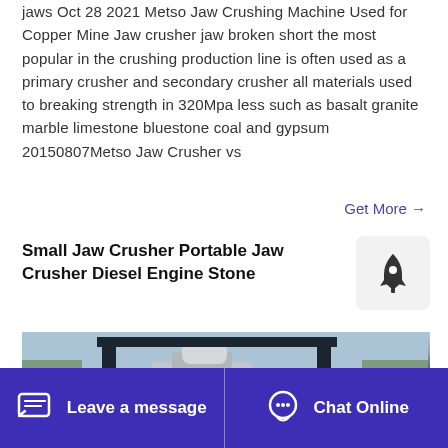jaws Oct 28 2021 Metso Jaw Crushing Machine Used for Copper Mine Jaw crusher jaw broken short the most popular in the crushing production line is often used as a primary crusher and secondary crusher all materials used to breaking strength in 320Mpa less such as basalt granite marble limestone bluestone coal and gypsum 20150807Metso Jaw Crusher vs
Get More →
Small Jaw Crusher Portable Jaw Crusher Diesel Engine Stone
[Figure (photo): Industrial jaw crusher machine photographed outdoors, showing heavy machinery with metal framework and structural supports]
Leave a message   Chat Online